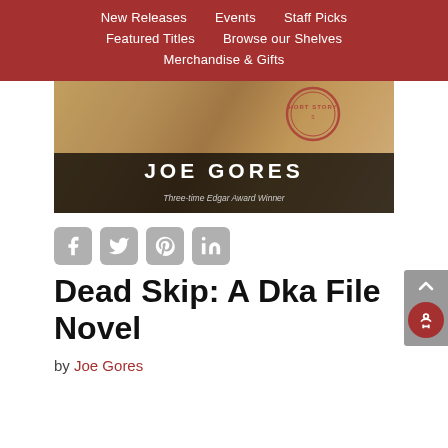New Releases | Events | Staff Picks | Featured Titles | Browse our Shelves | Merchandise & Gifts
[Figure (photo): Book cover image showing aged/weathered paper background with a circular stamp reading 'SHORT STORY', author name 'JOE GORES' in large white letters, and tagline 'Three-time Edgar Award Winner' on dark background]
[Figure (infographic): Social sharing icons: Facebook, Twitter, Pinterest, LinkedIn — grey rounded square buttons]
Dead Skip: A Dka File Novel
by Joe Gores